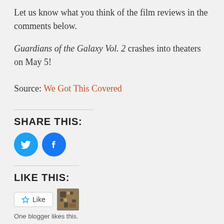Let us know what you think of the film reviews in the comments below.
Guardians of the Galaxy Vol. 2 crashes into theaters on May 5!
Source: We Got This Covered
SHARE THIS:
[Figure (other): Twitter and Facebook share icon buttons (circular blue icons with bird and f logos)]
LIKE THIS:
[Figure (other): Like button widget with star icon and blogger avatar image]
One blogger likes this.